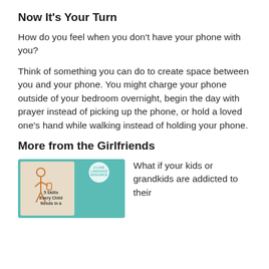Now It's Your Turn
How do you feel when you don't have your phone with you?
Think of something you can do to create space between you and your phone. You might charge your phone outside of your bedroom overnight, begin the day with prayer instead of picking up the phone, or hold a loved one's hand while walking instead of holding your phone.
More from the Girlfriends
[Figure (illustration): Book cover illustration showing a child figure using a phone, on a teal background. Text reads '5 Skills Every Child Needs in a' and 'A LOVE LANGUAGE RESOURCE']
What if your kids or grandkids are addicted to their